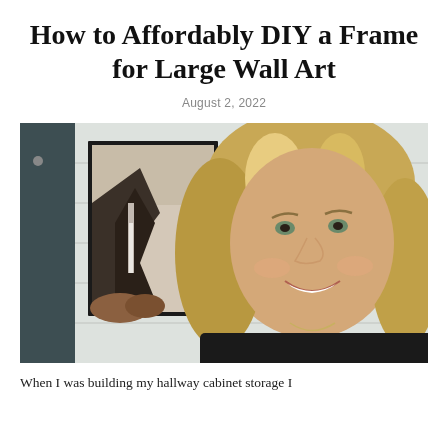How to Affordably DIY a Frame for Large Wall Art
August 2, 2022
[Figure (photo): A smiling blonde woman in a black top taking a selfie indoors. Behind her is a framed landscape painting showing mountains and a waterfall, mounted on a white shiplap wall. Dark cabinet visible on the left side.]
When I was building my hallway cabinet storage I